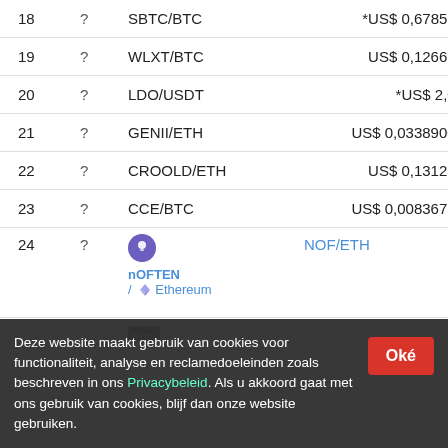| # | ? | Pair | Price |  |
| --- | --- | --- | --- | --- |
| 18 | ? | SBTC/BTC | *US$ 0,678574 | 21.6 |
| 19 | ? | WLXT/BTC | US$ 0,126616 | 7.2 |
| 20 | ? | LDO/USDT | *US$ 2,02 | 0.2 |
| 21 | ? | GENII/ETH | US$ 0,03389007 | 50 |
| 22 | ? | CROOLD/ETH | US$ 0,131232 | 0.4 |
| 23 | ? | CCE/BTC | US$ 0,00836736 | 60.7 |
| 24 | ? | NOF/ETH | *US$ 0,075135 | 77.4 |
| 25 | ? |  |  |  |
Deze website maakt gebruik van cookies voor functionaliteit, analyse en reclamedoeleinden zoals beschreven in ons Privacybeleid. Als u akkoord gaat met ons gebruik van cookies, blijf dan onze website gebruiken.